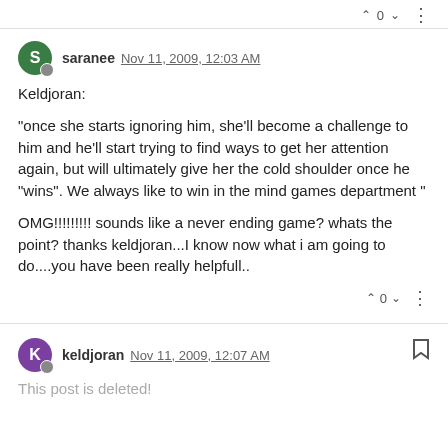0 (vote count top bar)
saranee Nov 11, 2009, 12:03 AM
Keldjoran:
"once she starts ignoring him, she'll become a challenge to him and he'll start trying to find ways to get her attention again, but will ultimately give her the cold shoulder once he "wins". We always like to win in the mind games department "
OMG!!!!!!!!! sounds like a never ending game? whats the point? thanks keldjoran...I know now what i am going to do....you have been really helpfull..
0 (vote count bottom)
keldjoran Nov 11, 2009, 12:07 AM
This post is deleted!